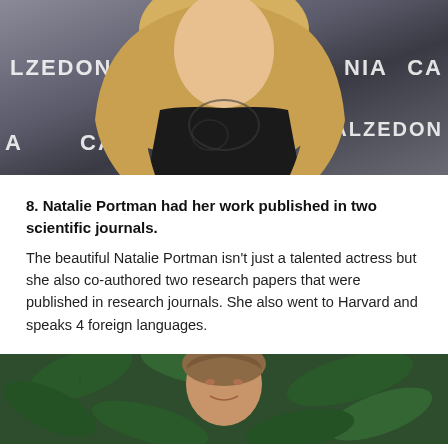[Figure (photo): Photo of a blonde woman in a black lace dress at a Calzedonia event backdrop]
8. Natalie Portman had her work published in two scientific journals.
The beautiful Natalie Portman isn't just a talented actress but she also co-authored two research papers that were published in research journals. She also went to Harvard and speaks 4 foreign languages.
[Figure (photo): Photo of a woman with brown hair in front of green leafy background]